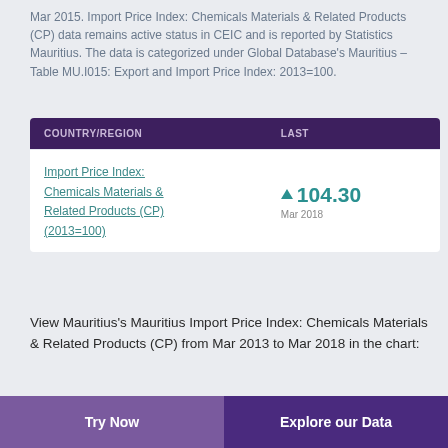Mar 2015. Import Price Index: Chemicals Materials & Related Products (CP) data remains active status in CEIC and is reported by Statistics Mauritius. The data is categorized under Global Database's Mauritius – Table MU.I015: Export and Import Price Index: 2013=100.
| COUNTRY/REGION | LAST |
| --- | --- |
| Import Price Index: Chemicals Materials & Related Products (CP) (2013=100) | ▲ 104.30
Mar 2018 |
View Mauritius's Mauritius Import Price Index: Chemicals Materials & Related Products (CP) from Mar 2013 to Mar 2018 in the chart:
Try Now    Explore our Data